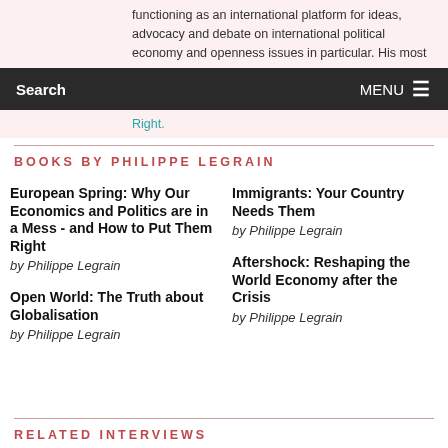functioning as an international platform for ideas, advocacy and debate on international political economy and openness issues in particular. His most
Search   MENU
Right.
BOOKS BY PHILIPPE LEGRAIN
European Spring: Why Our Economics and Politics are in a Mess - and How to Put Them Right
by Philippe Legrain
Immigrants: Your Country Needs Them
by Philippe Legrain
Aftershock: Reshaping the World Economy after the Crisis
by Philippe Legrain
Open World: The Truth about Globalisation
by Philippe Legrain
RELATED INTERVIEWS